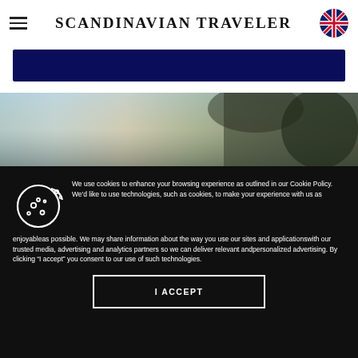SCANDINAVIAN TRAVELER
[Figure (illustration): Dark navy blue rectangular banner below the header]
[Figure (photo): Blurred outdoor photo strip showing blue sky and dark foliage/palm fronds]
We use cookies to enhance your browsing experience as outlined in our Cookie Policy. We'd like to use technologies, such as cookies, to make your experience with us as enjoyableas possible. We may share information about the way you use our sites and applicationswith our trusted media, advertising and analytics partners so we can deliver relevant andpersonalized advertising. By clicking “I accept” you consent to our use of such technologies.
I ACCEPT